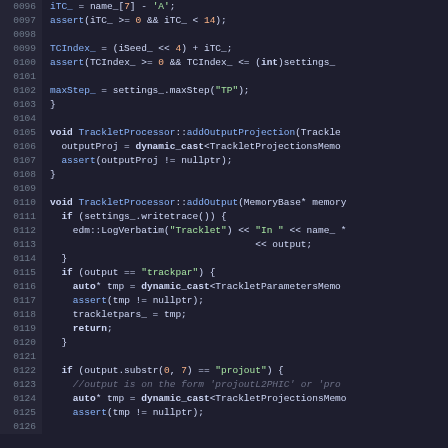[Figure (screenshot): Source code listing in C++ for TrackletProcessor class methods, lines 0096-0125, shown with syntax highlighting on dark background. Colors: line numbers in grey, keywords in white/bold, identifiers/types in blue, string literals in green, comments in dark grey italic.]